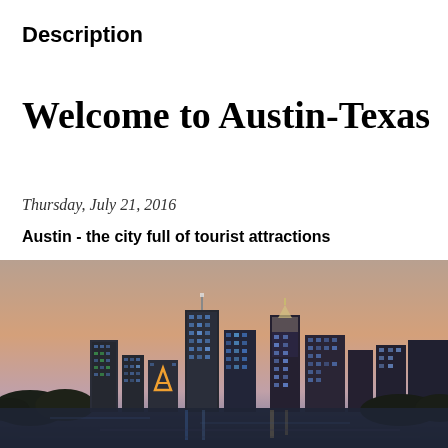Description
Welcome to Austin-Texas
Thursday, July 21, 2016
Austin - the city full of tourist attractions
[Figure (photo): Nighttime skyline of Austin, Texas with illuminated skyscrapers reflected in a river, set against a dusk sky with orange and purple hues.]